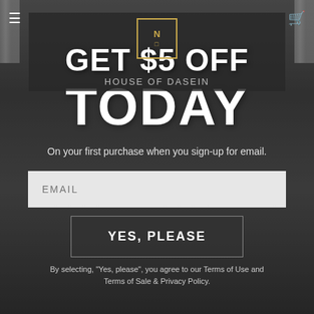[Figure (screenshot): E-commerce popup screenshot with dark background showing a promotional offer for $5 off with email sign-up for House of Dasein]
GET $5 OFF
TODAY
On your first purchase when you sign-up for email.
EMAIL
YES, PLEASE
By selecting, "Yes, please", you agree to our Terms of Use and Terms of Sale & Privacy Policy.